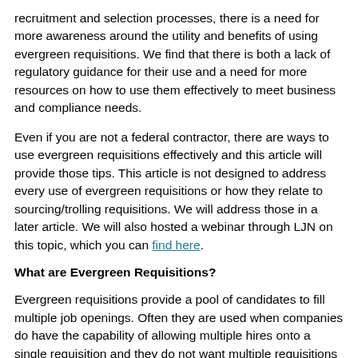recruitment and selection processes, there is a need for more awareness around the utility and benefits of using evergreen requisitions. We find that there is both a lack of regulatory guidance for their use and a need for more resources on how to use them effectively to meet business and compliance needs.
Even if you are not a federal contractor, there are ways to use evergreen requisitions effectively and this article will provide those tips. This article is not designed to address every use of evergreen requisitions or how they relate to sourcing/trolling requisitions. We will address those in a later article. We will also hosted a webinar through LJN on this topic, which you can find here.
What are Evergreen Requisitions?
Evergreen requisitions provide a pool of candidates to fill multiple job openings. Often they are used when companies do have the capability of allowing multiple hires onto a single requisition and they do not want multiple requisitions on their site, for example, 20 Teller requisitions in Columbus, Ohio. They allow candidates to apply one time for consideration for multiple openings, for example, 20 Bank